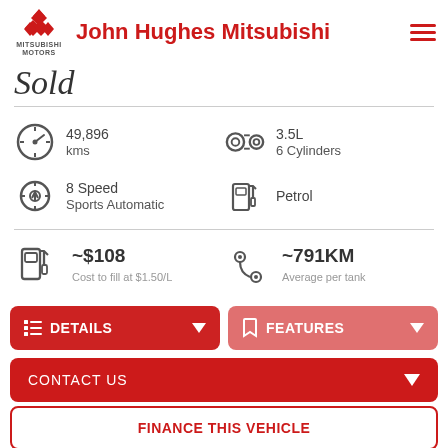John Hughes Mitsubishi
Sold
49,896 kms
3.5L 6 Cylinders
8 Speed Sports Automatic
Petrol
~$108 Cost to fill at $1.50/L
~791KM Average per tank
DETAILS
FEATURES
CONTACT US
FINANCE THIS VEHICLE